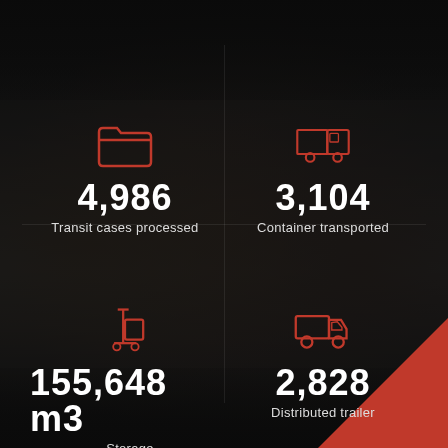[Figure (infographic): Dark background infographic with crowd photo overlay showing four logistics statistics with icons: folder icon, truck icon, hand-truck/dolly icon, delivery truck icon]
4,986
Transit cases processed
3,104
Container transported
155,648 m3
Storage
2,828
Distributed trailer